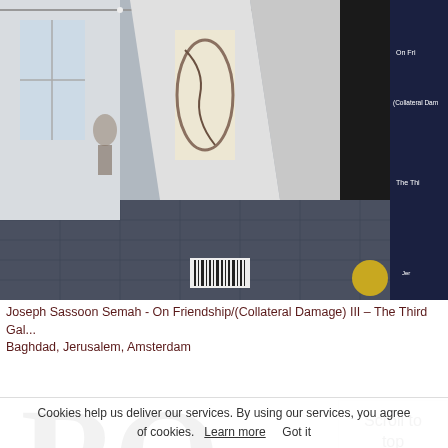[Figure (photo): Gallery interior photo showing white walls, angled corridor/partition structures, dark floor tiles, and partially visible book or artwork spine with orange cover reading 'Sassoon Semah' and text on right side. The right portion of the image shows a dark blue/navy cover with white text listing 'On Fri...', '(Collateral Dam...)', 'The Thi...', 'Jer...', 'Ams...']
Joseph Sassoon Semah - On Friendship/(Collateral Damage) III – The Third Gal... Baghdad, Jerusalem, Amsterdam
[Figure (logo): Large black serif letters 'RQ' logo, bold and slightly rough/brushstroke quality]
Scroll to top
Cookies help us deliver our services. By using our services, you agree of cookies.  Learn more     Got it